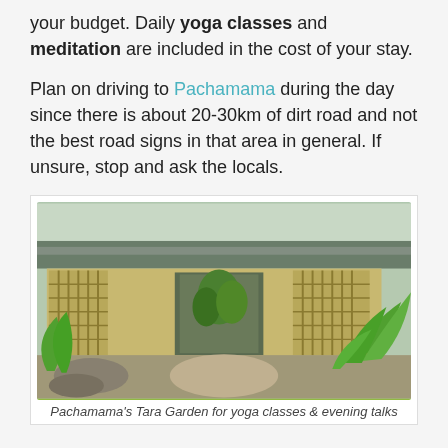your budget. Daily yoga classes and meditation are included in the cost of your stay.
Plan on driving to Pachamama during the day since there is about 20-30km of dirt road and not the best road signs in that area in general. If unsure, stop and ask the locals.
[Figure (photo): Exterior photo of Pachamama's Tara Garden building, a low wooden structure with latticed windows surrounded by tropical plants and a gravel path.]
Pachamama's Tara Garden for yoga classes & evening talks